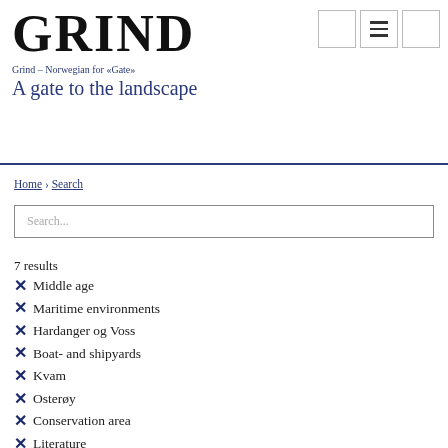GRIND
Grind – Norwegian for «Gate»
A gate to the landscape
Home › Search
Search...
7 results
Middle age
Maritime environments
Hardanger og Voss
Boat- and shipyards
Kvam
Osterøy
Conservation area
Literature